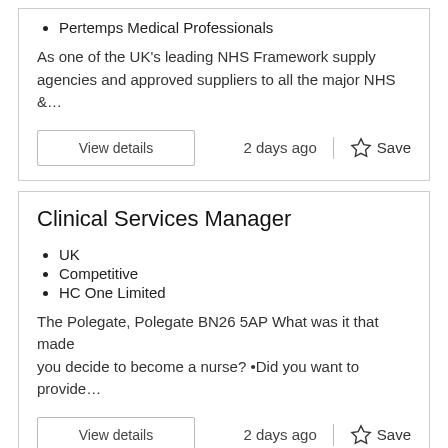Pertemps Medical Professionals
As one of the UK's leading NHS Framework supply agencies and approved suppliers to all the major NHS &…
View details   2 days ago  |  ☆ Save
Clinical Services Manager
UK
Competitive
HC One Limited
The Polegate, Polegate BN26 5AP What was it that made you decide to become a nurse? •Did you want to provide…
View details   2 days ago  |  ☆ Save